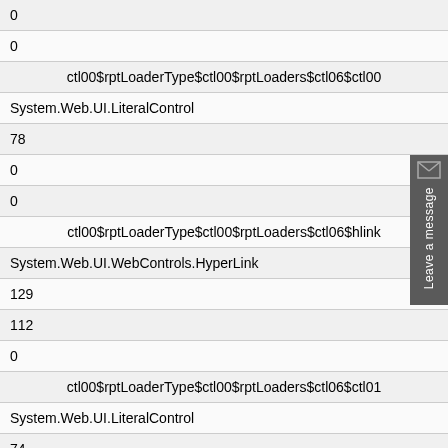| 0 |
| 0 |
| ctl00$rptLoaderType$ctl00$rptLoaders$ctl06$ctl00 |
| System.Web.UI.LiteralControl |
| 78 |
| 0 |
| 0 |
| ctl00$rptLoaderType$ctl00$rptLoaders$ctl06$hlink... |
| System.Web.UI.WebControls.HyperLink |
| 129 |
| 112 |
| 0 |
| ctl00$rptLoaderType$ctl00$rptLoaders$ctl06$ctl01 |
| System.Web.UI.LiteralControl |
| 74 |
| 0 |